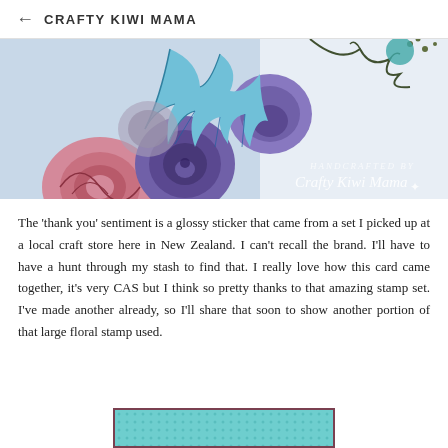← CRAFTY KIWI MAMA
[Figure (photo): Handcrafted floral card by Crafty Kiwi Mama featuring blue lily, pink roses, and purple/blue round flowers with decorative branches on a light background. Watermark 'Handcrafted by Crafty Kiwi Mama' in bottom right.]
The 'thank you' sentiment is a glossy sticker that came from a set I picked up at a local craft store here in New Zealand. I can't recall the brand. I'll have to have a hunt through my stash to find that. I really love how this card came together, it's very CAS but I think so pretty thanks to that amazing stamp set. I've made another already, so I'll share that soon to show another portion of that large floral stamp used.
[Figure (photo): Partial view of a card with dark brown/maroon border and teal/turquoise dotted or patterned background, cropped at the bottom of the page.]